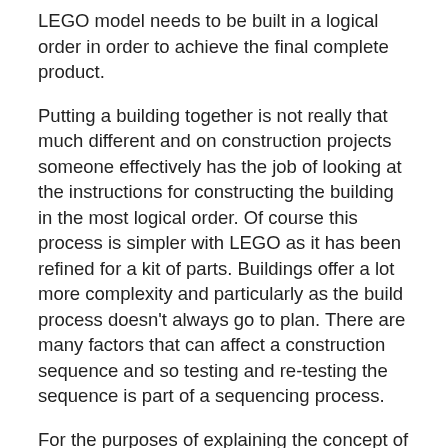LEGO model needs to be built in a logical order in order to achieve the final complete product.
Putting a building together is not really that much different and on construction projects someone effectively has the job of looking at the instructions for constructing the building in the most logical order. Of course this process is simpler with LEGO as it has been refined for a kit of parts. Buildings offer a lot more complexity and particularly as the build process doesn’t always go to plan. There are many factors that can affect a construction sequence and so testing and re-testing the sequence is part of a sequencing process.
For the purposes of explaining the concept of sequencing, this process was simplistically carried out in GRAPHISOFT ARCHICAD (images from ARCHICAD 19). Software designed specifically for